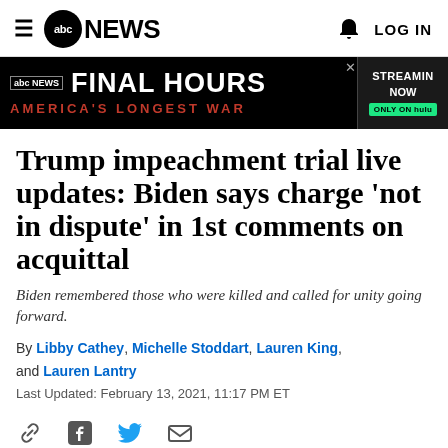abc NEWS | LOG IN
[Figure (screenshot): ABC News advertisement banner: 'abc NEWS FINAL HOURS - AMERICA'S LONGEST WAR - STREAMING NOW ONLY ON hulu']
Trump impeachment trial live updates: Biden says charge 'not in dispute' in 1st comments on acquittal
Biden remembered those who were killed and called for unity going forward.
By Libby Cathey, Michelle Stoddart, Lauren King, and Lauren Lantry
Last Updated: February 13, 2021, 11:17 PM ET
[Figure (infographic): Social sharing icons: link, Facebook, Twitter, email]